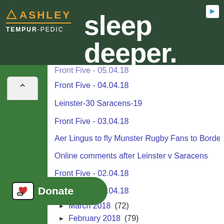[Figure (infographic): Ashley Tempur-Pedic advertisement banner with dark green background showing 'sleep deeper.' tagline]
Front Five - 05.04.18 (partial, cut off at top)
Front Five - 04.04.18
Leinster-30 Saracens-19
Front Five - 03.04.18
Aer Lingus to fly Munster Rugby Fans to Bordeaux f...
Online comments after Leinster v Saracens
Front Five - 02.04.18
Front Five - 01.04.18
March 2018 (72)
February 2018 (79)
January 2018 (61)
2017 (703)
2016 (749)
2015 (352) (partially visible)
2013 (525)